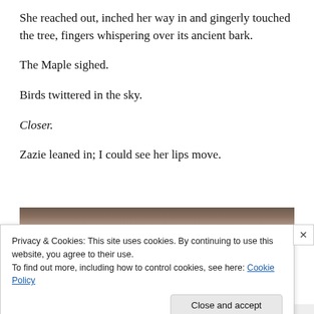She reached out, inched her way in and gingerly touched the tree, fingers whispering over its ancient bark.
The Maple sighed.
Birds twittered in the sky.
Closer.
Zazie leaned in; I could see her lips move.
[Figure (photo): Partial photo of a person with blonde/brown hair, cropped and partially obscured by cookie consent banner.]
Privacy & Cookies: This site uses cookies. By continuing to use this website, you agree to their use.
To find out more, including how to control cookies, see here: Cookie Policy
Close and accept